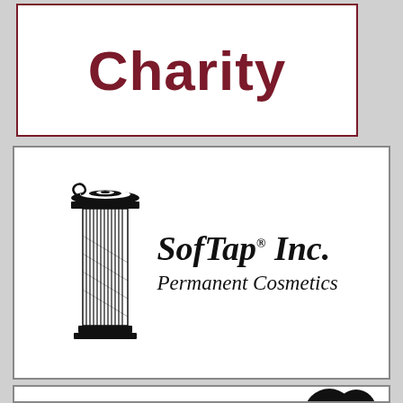Charity
[Figure (logo): SofTap Inc. Permanent Cosmetics logo with a Greek column illustration on the left and italic bold text 'SofTap. Inc.' with 'Permanent Cosmetics' below]
[Figure (logo): Partially visible logo at bottom of page, black graphic element visible]